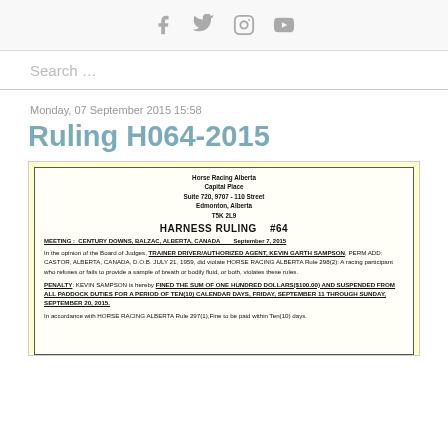[Social media icons: Facebook, Twitter, Instagram, YouTube]
Search ...
Monday, 07 September 2015 15:58
Ruling H064-2015
[Figure (other): Scanned official document on yellow background. Horse Racing Alberta, Capital Place, Suite 720, 9707 - 110 Street, Edmonton, Alberta, T5K 2L9. HARNESS RULING #64. MEETING: CENTURY DOWNS, BALZAC, ALBERTA, CANADA September 7, 2015. In the opinion of the Board of Judges, TRAINER DRIVER/AUTHORIZED AGENT, KEVIN GARTH SAMPSON, PERM ADD: CASTOR, ALBERTA, CANADA, D.O.B. JULY 21, 1959, did violate HORSE RACING ALBERTA Rule 298(2): A racing participant who refuses or fails to provide a sample of breath or bodily fluid, or both, violates these rules. PENALTY: KEVIN SAMPSON is hereby FINED THE SUM OF ONE HUNDRED DOLLARS($100.00) AND SUSPENDED FROM ALL PADDOCK DUTIES FOR A PERIOD OF TEN(10) CALENDAR DAYS, FRIDAY, SEPTEMBER 11 THROUGH SUNDAY, SEPTEMBER 20, 2015. In accordance with HORSE RACING ALBERTA Rule 297(1),Fine to be paid within Ten(10) days.]